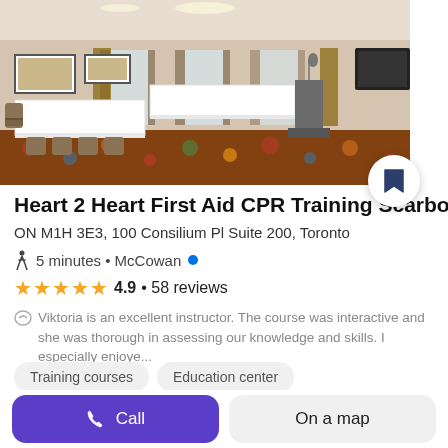[Figure (photo): Interior of a hotel conference/meeting room with white tablecloth tables arranged in a U-shape, brown chairs, patterned carpet, podium with microphone, windows with sheer curtains.]
Heart 2 Heart First Aid CPR Training Scarborou
ON M1H 3E3, 100 Consilium Pl Suite 200, Toronto
5 minutes • McCowan
4.9 • 58 reviews
Viktoria is an excellent instructor. The course was interactive and she was thorough in assessing our knowledge and skills. I especially enjoye...
Training courses
Education center
Call
On a map